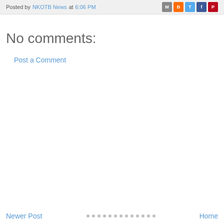Posted by NKOTB News at 6:06 PM
No comments:
Post a Comment
Newer Post   Home